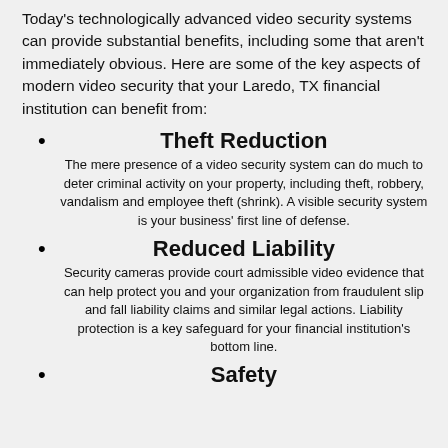Today's technologically advanced video security systems can provide substantial benefits, including some that aren't immediately obvious. Here are some of the key aspects of modern video security that your Laredo, TX financial institution can benefit from:
Theft Reduction
The mere presence of a video security system can do much to deter criminal activity on your property, including theft, robbery, vandalism and employee theft (shrink). A visible security system is your business' first line of defense.
Reduced Liability
Security cameras provide court admissible video evidence that can help protect you and your organization from fraudulent slip and fall liability claims and similar legal actions. Liability protection is a key safeguard for your financial institution's bottom line.
Safety
All American Protection offers security cameras...